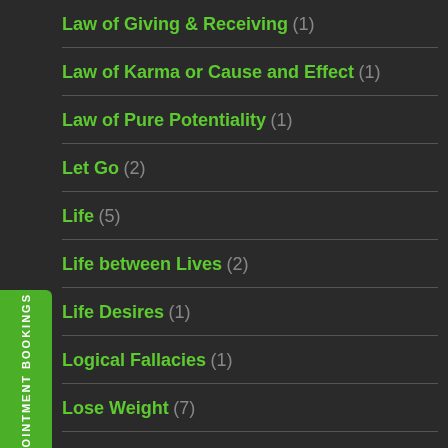Law of Giving & Receiving (1)
Law of Karma or Cause and Effect (1)
Law of Pure Potentiality (1)
Let Go (2)
Life (5)
Life between Lives (2)
Life Desires (1)
Logical Fallacies (1)
Lose Weight (7)
Love (5)
Love Frequency (1)